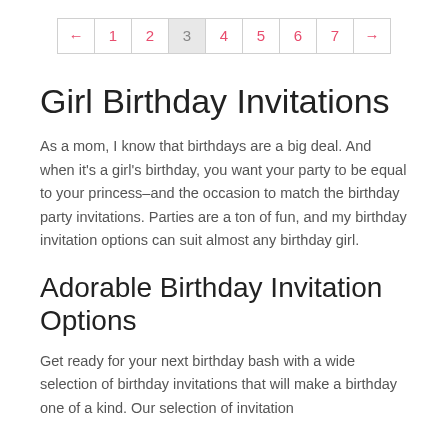← 1 2 3 4 5 6 7 →
Girl Birthday Invitations
As a mom, I know that birthdays are a big deal. And when it's a girl's birthday, you want your party to be equal to your princess–and the occasion to match the birthday party invitations. Parties are a ton of fun, and my birthday invitation options can suit almost any birthday girl.
Adorable Birthday Invitation Options
Get ready for your next birthday bash with a wide selection of birthday invitations that will make a birthday one of a kind. Our selection of invitation